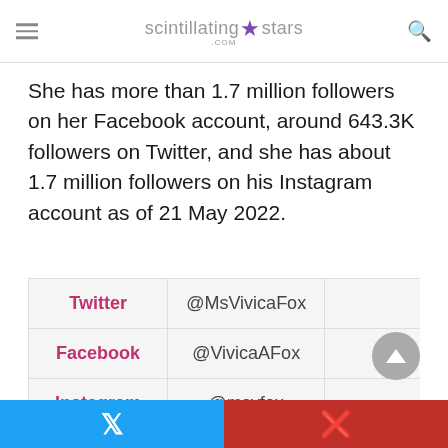scintillating★stars.com
She has more than 1.7 million followers on her Facebook account, around 643.3K followers on Twitter, and she has about 1.7 million followers on his Instagram account as of 21 May 2022.
| Twitter | @MsVivicaFox |
| Facebook | @VivicaAFox |
| Instagram | @msvfox |